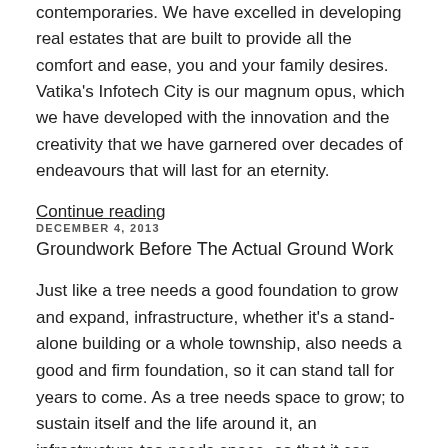contemporaries. We have excelled in developing real estates that are built to provide all the comfort and ease, you and your family desires. Vatika's Infotech City is our magnum opus, which we have developed with the innovation and the creativity that we have garnered over decades of endeavours that will last for an eternity.
Continue reading
DECEMBER 4, 2013
Groundwork Before The Actual Ground Work
Just like a tree needs a good foundation to grow and expand, infrastructure, whether it's a stand-alone building or a whole township, also needs a good and firm foundation, so it can stand tall for years to come. As a tree needs space to grow; to sustain itself and the life around it, an infrastructure too needs space, so that it can support itself as well the life of the people residing in it and should offer even more.